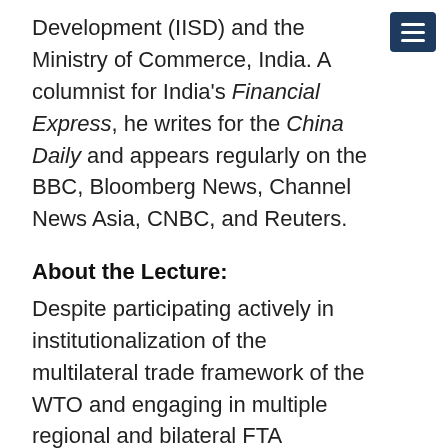Development (IISD) and the Ministry of Commerce, India. A columnist for India's Financial Express, he writes for the China Daily and appears regularly on the BBC, Bloomberg News, Channel News Asia, CNBC, and Reuters.
About the Lecture:
Despite participating actively in institutionalization of the multilateral trade framework of the WTO and engaging in multiple regional and bilateral FTA negotiations, India's trade policy remains ambiguous. Over the years, India has acquired the reputation of being a difficult and obstructive trade negotiator, unwilling to grant